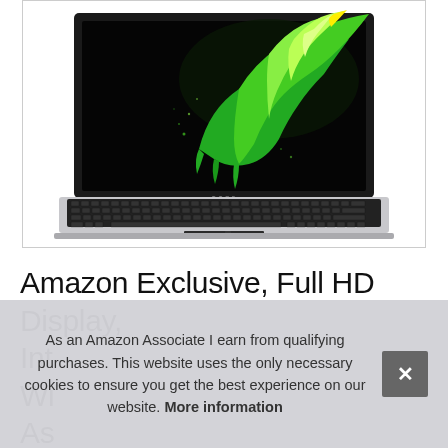[Figure (photo): Acer laptop with silver body shown from above/front angle. Screen displays green liquid splash Acer logo on black background. Full keyboard visible.]
Amazon Exclusive, Full HD Display, Int Wi As
As an Amazon Associate I earn from qualifying purchases. This website uses the only necessary cookies to ensure you get the best experience on our website. More information